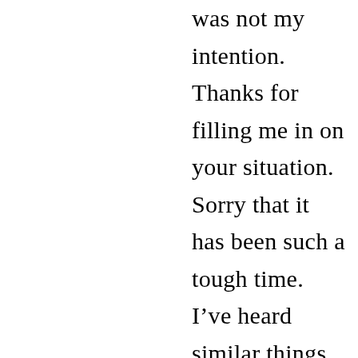was not my intention. Thanks for filling me in on your situation. Sorry that it has been such a tough time. I've heard similar things from other teaching friends. I'm sure it has been very frustrating and